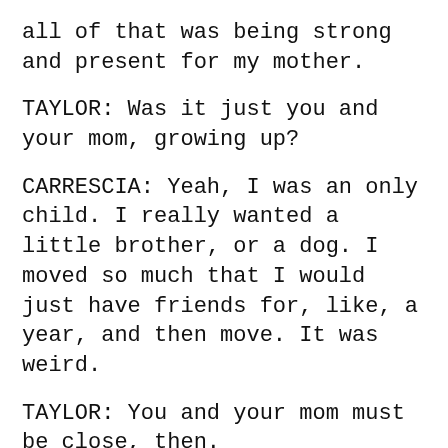all of that was being strong and present for my mother.
TAYLOR: Was it just you and your mom, growing up?
CARRESCIA: Yeah, I was an only child. I really wanted a little brother, or a dog. I moved so much that I would just have friends for, like, a year, and then move. It was weird.
TAYLOR: You and your mom must be close, then.
CARRESCIA: She's everything to me. I talk to her almost every day now. It's